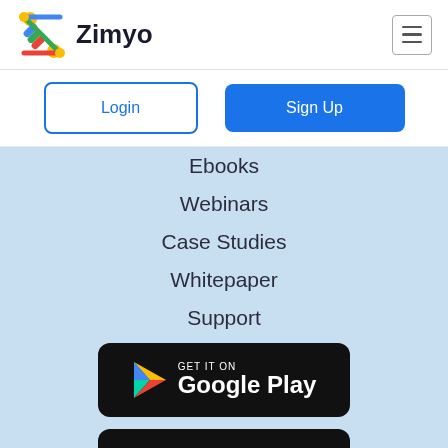[Figure (logo): Zimyo logo with colorful Z icon and bold Zimyo text]
Login
Sign Up
Ebooks
Webinars
Case Studies
Whitepaper
Support
[Figure (other): Get it on Google Play badge]
[Figure (other): Download on the App Store badge]